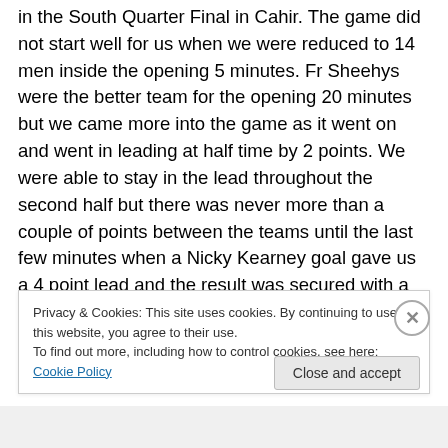in the South Quarter Final in Cahir. The game did not start well for us when we were reduced to 14 men inside the opening 5 minutes. Fr Sheehys were the better team for the opening 20 minutes but we came more into the game as it went on and went in leading at half time by 2 points. We were able to stay in the lead throughout the second half but there was never more than a couple of points between the teams until the last few minutes when a Nicky Kearney goal gave us a 4 point lead and the result was secured with a couple of more points to leave the final
Privacy & Cookies: This site uses cookies. By continuing to use this website, you agree to their use. To find out more, including how to control cookies, see here: Cookie Policy
Close and accept